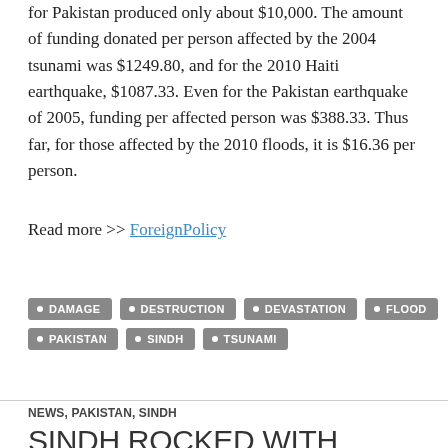for Pakistan produced only about $10,000. The amount of funding donated per person affected by the 2004 tsunami was $1249.80, and for the 2010 Haiti earthquake, $1087.33. Even for the Pakistan earthquake of 2005, funding per affected person was $388.33. Thus far, for those affected by the 2010 floods, it is $16.36 per person.
Read more >> ForeignPolicy
DAMAGE
DESTRUCTION
DEVASTATION
FLOOD
PAKISTAN
SINDH
TSUNAMI
NEWS, PAKISTAN, SINDH
SINDH ROCKED WITH CONTINOUS EXPLOSIONS